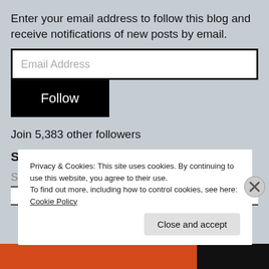Enter your email address to follow this blog and receive notifications of new posts by email.
[Figure (screenshot): Email address input field with placeholder text 'Email Address']
[Figure (screenshot): Black 'Follow' button]
Join 5,383 other followers
Search this Site
Search…
Privacy & Cookies: This site uses cookies. By continuing to use this website, you agree to their use.
To find out more, including how to control cookies, see here: Cookie Policy
[Figure (screenshot): Close and accept button and X close icon for cookie banner]